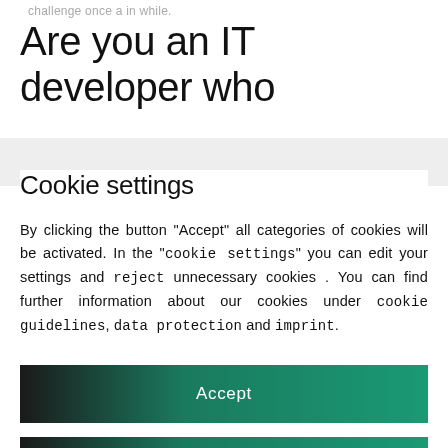challenge once a in while.
Are you an IT developer who
Cookie settings
By clicking the button "Accept" all categories of cookies will be activated. In the "cookie settings" you can edit your settings and reject unnecessary cookies . You can find further information about our cookies under cookie guidelines, data protection and imprint.
Accept
Reject all